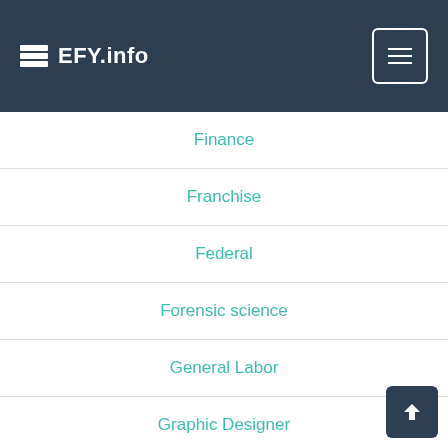EFY.info
Finance
Franchise
Federal
Forensic science
General Labor
Graphic Designer
Government
Grocery
Healthcare